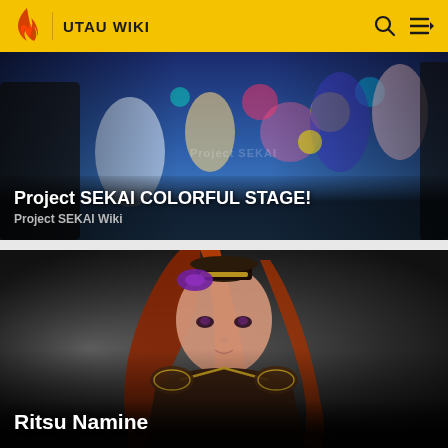UTAU WIKI
[Figure (illustration): Project SEKAI COLORFUL STAGE anime characters promotional artwork with colorful background]
Project SEKAI COLORFUL STAGE!
Project SEKAI Wiki
[Figure (illustration): Ritsu Namine anime character with long red hair, purple bow, small top hat, dark outfit with gold accents]
Ritsu Namine